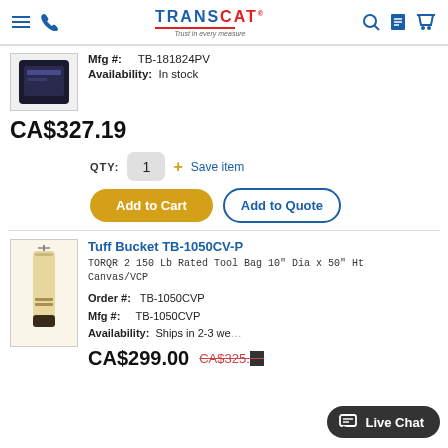TRANSCAT — Trust in every measure
Mfg #: TB-181824PV
Availability: In stock
CA$327.19
QTY: 1  + Save item
Add to Cart | Add to Quote
Tuff Bucket TB-1050CV-P
TORQR 2 150 Lb Rated Tool Bag 10" Dia x 50" Ht Canvas/VCP
Order #: TB-1050CVP
Mfg #: TB-1050CVP
Availability: Ships in 2-3 we...
CA$299.00  CA$325.00